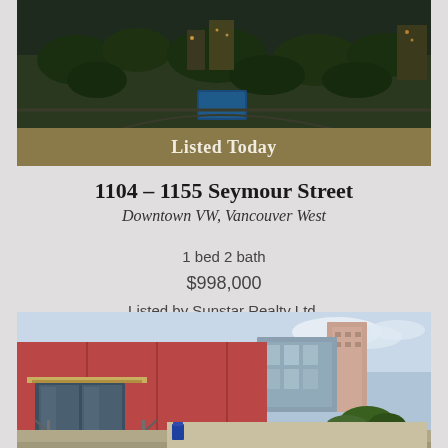[Figure (photo): Aerial night view of Vancouver city with trees, buildings, and a pool area]
Listed Today
1104 – 1155 Seymour Street
Downtown VW, Vancouver West
1 bed 2 bath
$998,000
Listed by Sunstar Realty Ltd.
[Figure (photo): Street-level exterior photo of a modern red brick and glass condominium building entrance with landscaping]